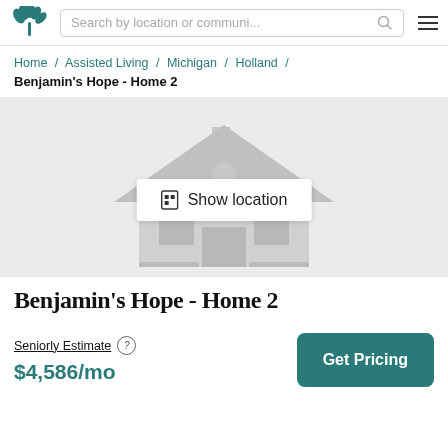Search by location or communi...
Home / Assisted Living / Michigan / Holland /
Benjamin's Hope - Home 2
[Figure (illustration): Placeholder house illustration on light grey background with 'Show location' button overlay in center]
Benjamin's Hope - Home 2
Seniorly Estimate
$4,586/mo
Get Pricing